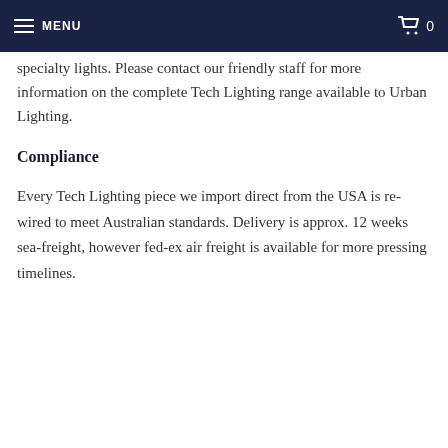MENU  0
specialty lights. Please contact our friendly staff for more information on the complete Tech Lighting range available to Urban Lighting.
Compliance
Every Tech Lighting piece we import direct from the USA is re-wired to meet Australian standards. Delivery is approx. 12 weeks sea-freight, however fed-ex air freight is available for more pressing timelines.